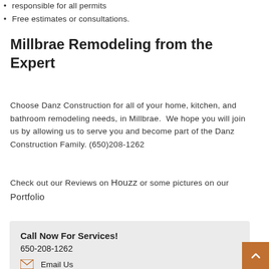responsible for all permits
Free estimates or consultations.
Millbrae Remodeling from the Expert
Choose Danz Construction for all of your home, kitchen, and bathroom remodeling needs, in Millbrae.  We hope you will join us by allowing us to serve you and become part of the Danz Construction Family. (650)208-1262
Check out our Reviews on Houzz or some pictures on our Portfolio
Call Now For Services!
650-208-1262
Email Us